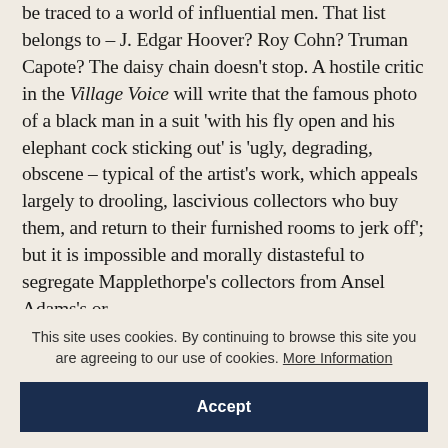be traced to a world of influential men. That list belongs to – J. Edgar Hoover? Roy Cohn? Truman Capote? The daisy chain doesn't stop. A hostile critic in the Village Voice will write that the famous photo of a black man in a suit 'with his fly open and his elephant cock sticking out' is 'ugly, degrading, obscene – typical of the artist's work, which appeals largely to drooling, lascivious collectors who buy them, and return to their furnished rooms to jerk off'; but it is impossible and morally distasteful to segregate Mapplethorpe's collectors from Ansel Adams's or
This site uses cookies. By continuing to browse this site you are agreeing to our use of cookies. More Information
Accept